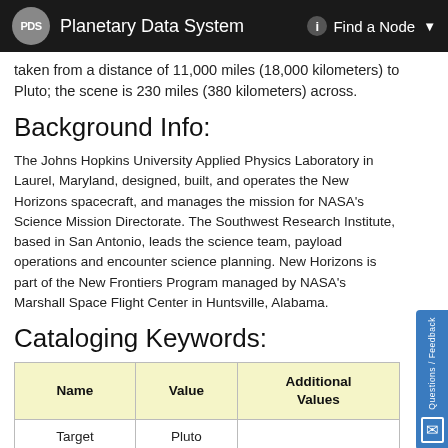PDS  Planetary Data System    Find a Node
taken from a distance of 11,000 miles (18,000 kilometers) to Pluto; the scene is 230 miles (380 kilometers) across.
Background Info:
The Johns Hopkins University Applied Physics Laboratory in Laurel, Maryland, designed, built, and operates the New Horizons spacecraft, and manages the mission for NASA's Science Mission Directorate. The Southwest Research Institute, based in San Antonio, leads the science team, payload operations and encounter science planning. New Horizons is part of the New Frontiers Program managed by NASA's Marshall Space Flight Center in Huntsville, Alabama.
Cataloging Keywords:
| Name | Value | Additional Values |
| --- | --- | --- |
| Target | Pluto |  |
| System | Pluto | Kuiper Belt |